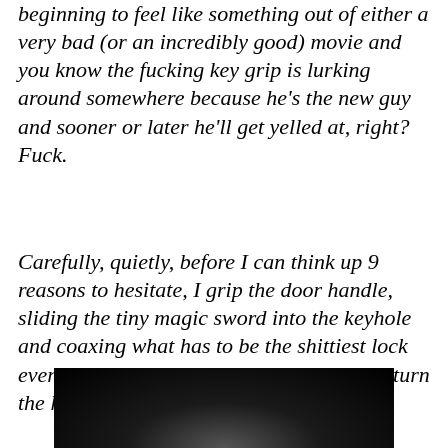beginning to feel like something out of either a very bad (or an incredibly good) movie and you know the fucking key grip is lurking around somewhere because he's the new guy and sooner or later he'll get yelled at, right? Fuck.
Carefully, quietly, before I can think up 9 reasons to hesitate, I grip the door handle, sliding the tiny magic sword into the keyhole and coaxing what has to be the shittiest lock ever invented into the unlocked position. I turn the handle, and push the door open.
[Figure (photo): Dark/black photograph, partially visible at the bottom of the page, showing a dimly lit scene with a faint circular light or figure visible at the bottom center.]